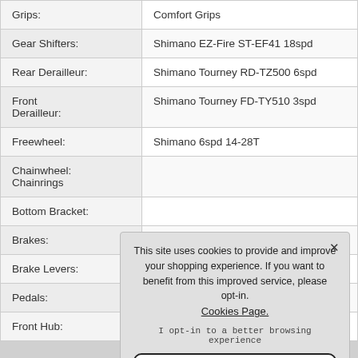| Component | Specification |
| --- | --- |
| Grips: | Comfort Grips |
| Gear Shifters: | Shimano EZ-Fire ST-EF41 18spd |
| Rear Derailleur: | Shimano Tourney RD-TZ500 6spd |
| Front Derailleur: | Shimano Tourney FD-TY510 3spd |
| Freewheel: | Shimano 6spd 14-28T |
| Chainwheel: Chainrings |  |
| Bottom Bracket: |  |
| Brakes: |  |
| Brake Levers: |  |
| Pedals: |  |
| Front Hub: |  |
This site uses cookies to provide and improve your shopping experience. If you want to benefit from this improved service, please opt-in. Cookies Page. I opt-in to a better browsing experience ACCEPT COOKIES